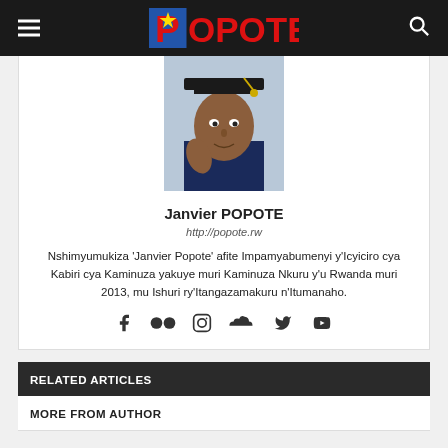POPOTE
[Figure (photo): Profile photo of Janvier POPOTE wearing graduation cap and gown]
Janvier POPOTE
http://popote.rw
Nshimyumukiza 'Janvier Popote' afite Impamyabumenyi y'Icyiciro cya Kabiri cya Kaminuza yakuye muri Kaminuza Nkuru y'u Rwanda muri 2013, mu Ishuri ry'Itangazamakuru n'Itumanaho.
[Figure (other): Social media icons: Facebook, Flickr, Instagram, SoundCloud, Twitter, YouTube]
RELATED ARTICLES
MORE FROM AUTHOR